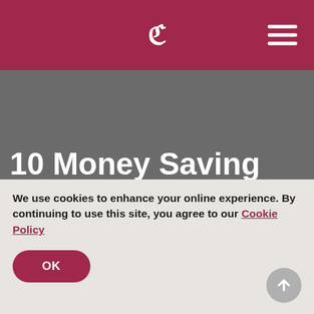C [logo with hamburger menu]
[Figure (photo): Dark gray hero image background]
10 Money Saving Hacks To Cut The Cost Of Travel [Infographic]
We use cookies to enhance your online experience. By continuing to use this site, you agree to our Cookie Policy
OK